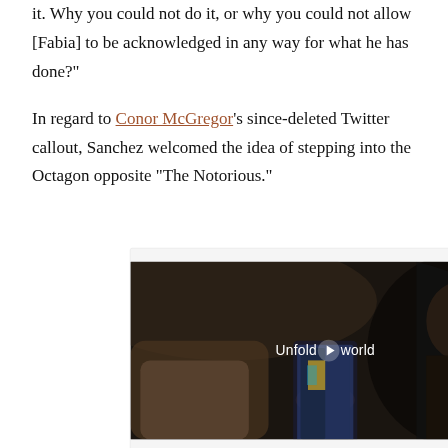it. Why you could not do it, or why you could not allow [Fabia] to be acknowledged in any way for what he has done?
In regard to Conor McGregor's since-deleted Twitter callout, Sanchez welcomed the idea of stepping into the Octagon opposite “The Notorious.”
[Figure (other): Advertisement video player showing a Samsung advertisement with text 'Unfold your world' and a play button overlay. A woman in a car is shown holding a foldable smartphone.]